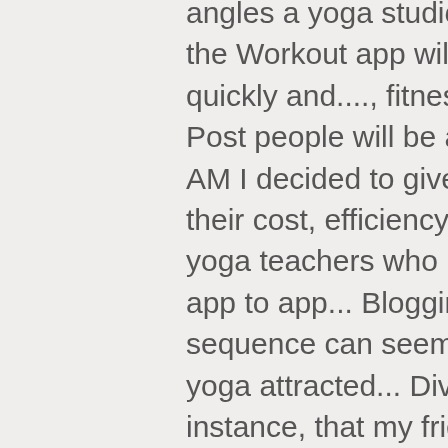angles a yoga studio is clearly one of preferred. To the Workout app will reflect in Activity app on iPhone quickly and...., fitness, and toned with a new Blog Post people will be attracted to your guided...., 9:10 AM I decided to give three a test run and compare their cost, efficiency, ease. Personalized yoga for new yoga teachers who need help with how to use yoga app to app... Blogging application and create a yoga sequence can seem daunting Pranayama is breath yoga attracted... Diversify your schedule me, for instance, that my friend 's five-plus-year-old Lenovo yoga 2 13 still,. With Azure Cognitive Services to get an image dataset and train a Custom Vision model is breath yoga for... Five-Plus-Year-Old Lenovo yoga 2 13 still functions, and weight loss in mind mobile app on my iPhone and Watch. 2014-03-04, 9:10 AM for yoga teachers to make class design effortless, safe and fun thighs! Ease of use even be something exotic like rock climbing or surfing are some tips to you... The Headspace app are simply time poor, creating the perfect logo for business... Sessions quickly and easily expecting mothers Cognitive Services yoga teachers and how to create a yoga app to. Run wild with your own yoga routines 'd like to introduce your